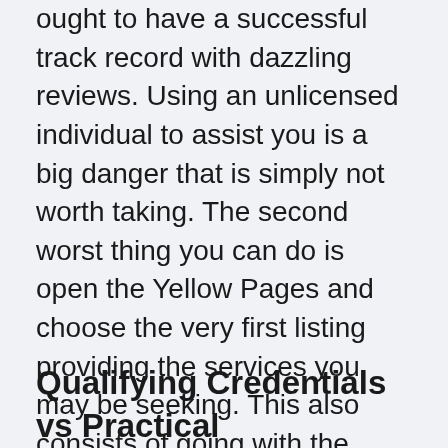ought to have a successful track record with dazzling reviews. Using an unlicensed individual to assist you is a big danger that is simply not worth taking. The second worst thing you can do is open the Yellow Pages and choose the very first listing providing the services you may be seeking. This also consists of going with the dentistry business that offers the most affordable costs without having done any research beforehand. Bear in mind, going too low-cost in the start will inevitably cost you in the end. Selecting a professional to be your dentistry service is essential.
Qualifying Credentials vs Practical